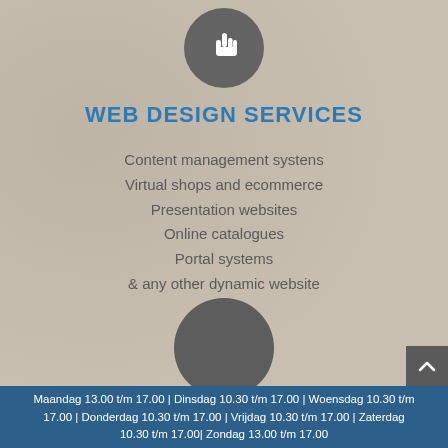[Figure (illustration): Dark grey circle with a hand/pointer cursor icon in white]
WEB DESIGN SERVICES
Content management systens
Virtual shops and ecommerce
Presentation websites
Online catalogues
Portal systems
& any other dynamic website
[Figure (illustration): Dark grey filled circle (no icon)]
GRAPHIC DESIGN SERVICES
Maandag 13.00 t/m 17.00 | Dinsdag 10.30 t/m 17.00 | Woensdag 10.30 t/m 17.00 | Donderdag 10.30 t/m 17.00 | Vrijdag 10.30 t/m 17.00 | Zaterdag 10.30 t/m 17.00| Zondag 13.00 t/m 17.00